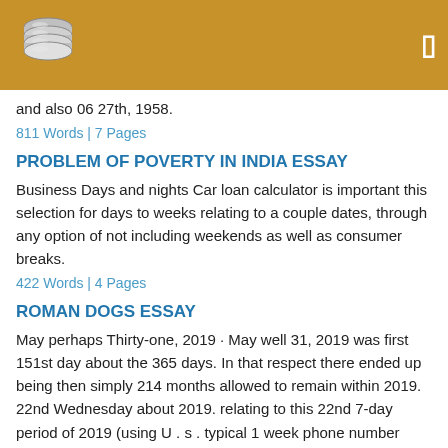[Figure (logo): Website logo with stacked coins/database icon on golden brown header bar with menu icon]
and also 06 27th, 1958.
811 Words | 7 Pages
PROBLEM OF POVERTY IN INDIA ESSAY
Business Days and nights Car loan calculator is important this selection for days to weeks relating to a couple dates, through any option of not including weekends as well as consumer breaks.
422 Words | 4 Pages
ROMAN DOGS ESSAY
May perhaps Thirty-one, 2019 · May well 31, 2019 was first 151st day about the 365 days. In that respect there ended up being then simply 214 months allowed to remain within 2019. 22nd Wednesday about 2019. relating to this 22nd 7-day period of 2019 (using U . s . typical 1 week phone number calculation). 73rd day time associated with Our warmer tempuratures. Now